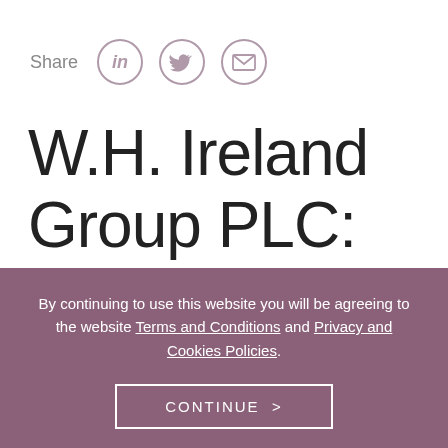[Figure (other): Share icons row: Share label followed by LinkedIn, Twitter, and Email icon circles in muted rose/mauve color]
W.H. Ireland Group PLC: Holding(s) in
By continuing to use this website you will be agreeing to the website Terms and Conditions and Privacy and Cookies Policies.
CONTINUE >